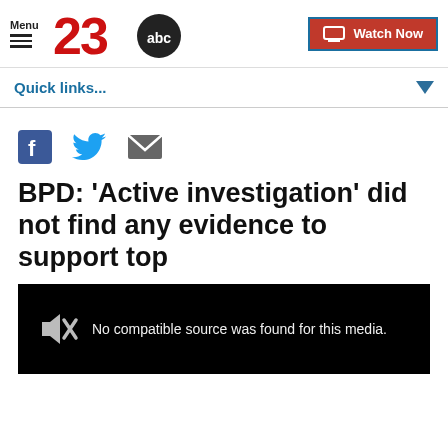Menu | 23abc | Watch Now
Quick links...
[Figure (other): Social share icons: Facebook, Twitter, Email]
BPD: 'Active investigation' did not find any evidence to support top
[Figure (screenshot): Video player showing: No compatible source was found for this media.]